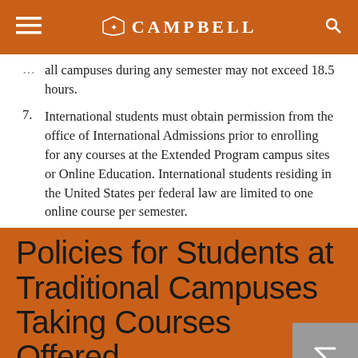CAMPBELL
all campuses during any semester may not exceed 18.5 hours.
International students must obtain permission from the office of International Admissions prior to enrolling for any courses at the Extended Program campus sites or Online Education. International students residing in the United States per federal law are limited to one online course per semester.
Policies for Students at Traditional Campuses Taking Courses Offered